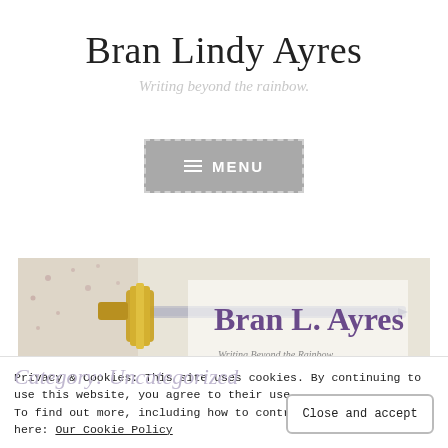Bran Lindy Ayres
Writing beyond the rainbow.
[Figure (screenshot): Gray navigation menu button with hamburger icon and MENU text, dashed border]
[Figure (illustration): Banner image showing a fantasy-themed background with a sword and golden hilt, with 'Bran L. Ayres' text overlay in purple and tagline 'Writing Beyond the Rainbow']
Privacy & Cookies: This site uses cookies. By continuing to use this website, you agree to their use. To find out more, including how to control cookies, see here: Our Cookie Policy
Category: Uncategorized
Close and accept